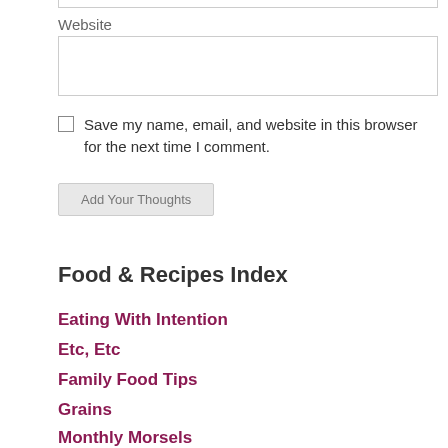Website
Save my name, email, and website in this browser for the next time I comment.
Add Your Thoughts
Food & Recipes Index
Eating With Intention
Etc, Etc
Family Food Tips
Grains
Monthly Morsels
Other Things